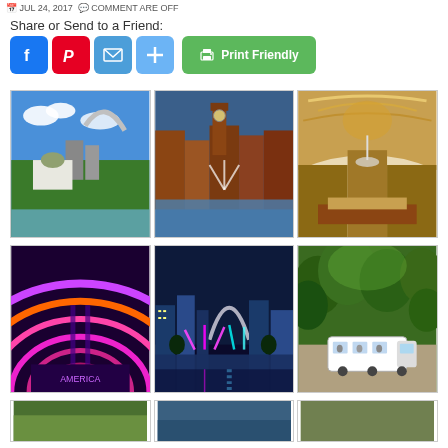JUL 24, 2017  ·  COMMENT ARE OFF
Share or Send to a Friend:
[Figure (screenshot): Social sharing buttons: Facebook (blue), Pinterest (red), Email (blue), Plus (light blue), Print Friendly (green)]
[Figure (photo): Grid of 3 photos of St. Louis: Gateway Arch with Old Courthouse, city plaza with fountain and clock tower, ornate hotel lobby interior]
[Figure (photo): Grid of 3 photos: colorful arched ceiling interior, night city scene with Gateway Arch and illuminated fountains, zoo tram in green park]
[Figure (photo): Bottom partial grid of photos beginning to appear]